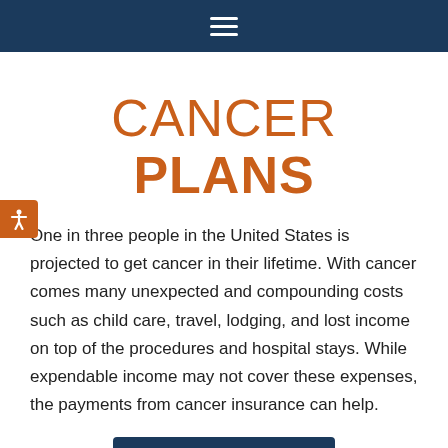Navigation bar with hamburger menu
CANCER PLANS
One in three people in the United States is projected to get cancer in their lifetime. With cancer comes many unexpected and compounding costs such as child care, travel, lodging, and lost income on top of the procedures and hospital stays. While expendable income may not cover these expenses, the payments from cancer insurance can help.
We Can Help!